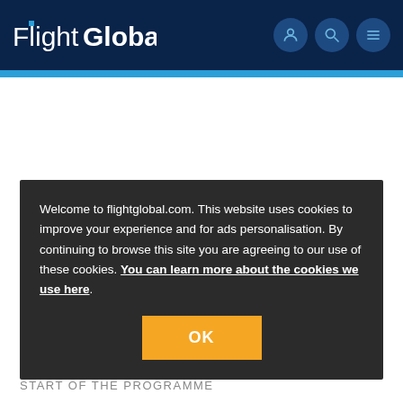FlightGlobal
Welcome to flightglobal.com. This website uses cookies to improve your experience and for ads personalisation. By continuing to browse this site you are agreeing to our use of these cookies. You can learn more about the cookies we use here.
OK
START OF THE PROGRAMME